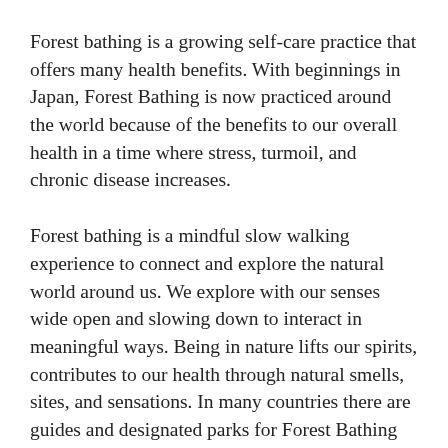Forest bathing is a growing self-care practice that offers many health benefits. With beginnings in Japan, Forest Bathing is now practiced around the world because of the benefits to our overall health in a time where stress, turmoil, and chronic disease increases.
Forest bathing is a mindful slow walking experience to connect and explore the natural world around us. We explore with our senses wide open and slowing down to interact in meaningful ways. Being in nature lifts our spirits, contributes to our health through natural smells, sites, and sensations. In many countries there are guides and designated parks for Forest Bathing experiences.
Most of human existence has been intricately woven